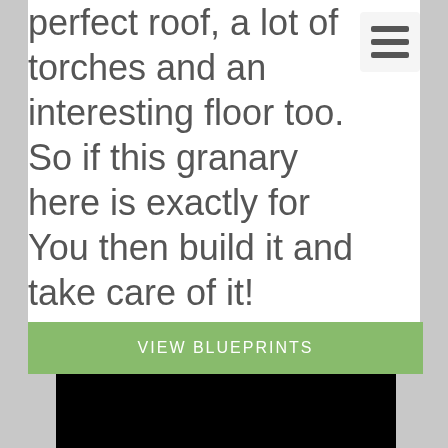perfect roof, a lot of torches and an interesting floor too. So if this granary here is exactly for You then build it and take care of it!
VIEW BLUEPRINTS
[Figure (screenshot): Video player showing a black screen with a loading spinner and a progress bar at the bottom. Controls show mute icon, timestamp 00:32, and expand icon.]